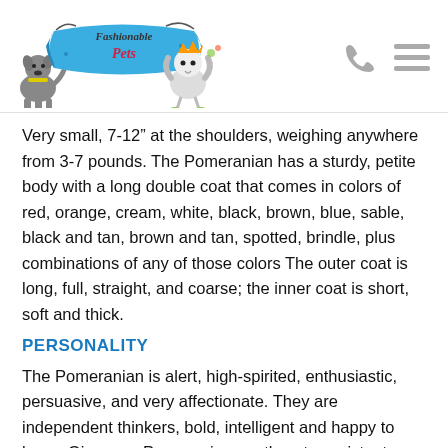[Figure (logo): Fashionable Pets logo with cartoon dog and bird characters flanking a blue banner with stylized text]
Very small, 7-12″ at the shoulders, weighing anywhere from 3-7 pounds. The Pomeranian has a sturdy, petite body with a long double coat that comes in colors of red, orange, cream, white, black, brown, blue, sable, black and tan, brown and tan, spotted, brindle, plus combinations of any of those colors The outer coat is long, full, straight, and coarse; the inner coat is short, soft and thick.
PERSONALITY
The Pomeranian is alert, high-spirited, enthusiastic, persuasive, and very affectionate. They are independent thinkers, bold, intelligent and happy to learn. Give your Pomeranian gentle yet consistent guidance to demonstrate